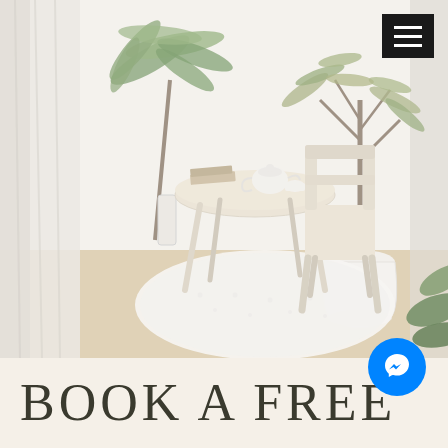[Figure (photo): Bright minimalist interior scene with a light wood round table, a matching chair, a white fluffy round rug on light wood floor, potted green plants on both sides, white curtain on left, white walls, teapot and books on table, photographed in airy natural light.]
BOOK A FREE